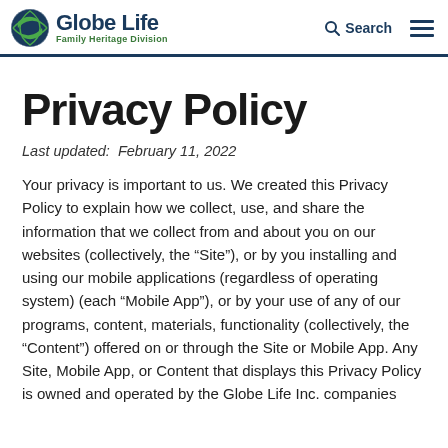Globe Life Family Heritage Division | Search | Menu
Privacy Policy
Last updated:  February 11, 2022
Your privacy is important to us. We created this Privacy Policy to explain how we collect, use, and share the information that we collect from and about you on our websites (collectively, the “Site”), or by you installing and using our mobile applications (regardless of operating system) (each “Mobile App”), or by your use of any of our programs, content, materials, functionality (collectively, the “Content”) offered on or through the Site or Mobile App. Any Site, Mobile App, or Content that displays this Privacy Policy is owned and operated by the Globe Life Inc. companies